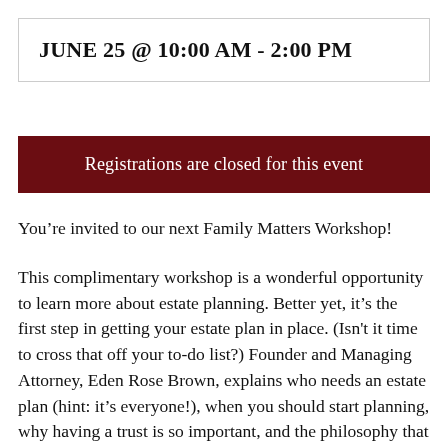JUNE 25 @ 10:00 AM - 2:00 PM
Registrations are closed for this event
You’re invited to our next Family Matters Workshop!
This complimentary workshop is a wonderful opportunity to learn more about estate planning. Better yet, it’s the first step in getting your estate plan in place. (Isn't it time to cross that off your to-do list?) Founder and Managing Attorney, Eden Rose Brown, explains who needs an estate plan (hint: it’s everyone!), when you should start planning, why having a trust is so important, and the philosophy that motivates our entire Firm.